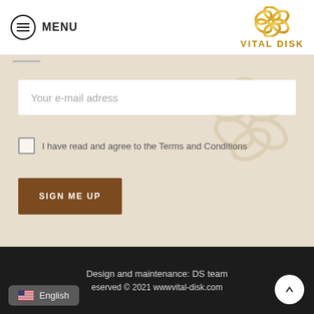MENU | VITAL DISK
[Figure (screenshot): Vital Disk website screenshot showing a newsletter signup form with email input field, terms and conditions checkbox, and SIGN ME UP button on a beige background, with the Vital Disk logo in the top right corner]
Design and maintenance: DS team | All rights reserved © 2021 wwwvital-disk.com | English